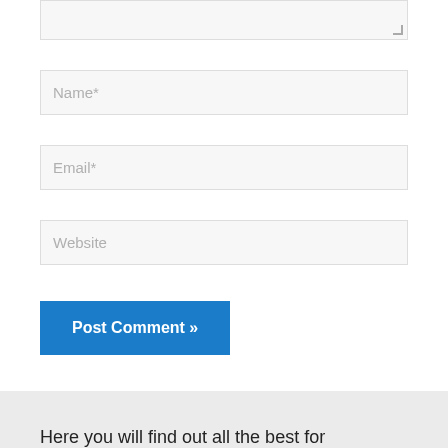[Figure (screenshot): Partial textarea (top cropped) with resize handle at bottom-right]
Name*
Email*
Website
Post Comment »
Here you will find out all the best for successful fishing.